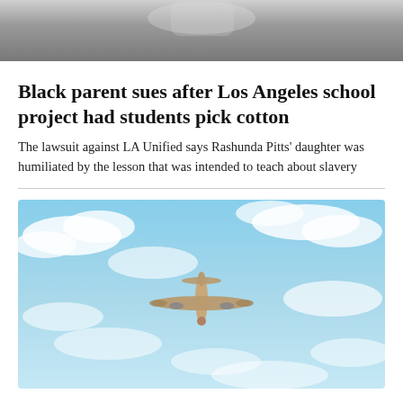[Figure (photo): Partial top image, appears to be a person or scene, cropped at top of page, gray tones]
Black parent sues after Los Angeles school project had students pick cotton
The lawsuit against LA Unified says Rashunda Pitts' daughter was humiliated by the lesson that was intended to teach about slavery
[Figure (photo): Airplane photographed from below against a blue sky with white clouds, viewed from directly underneath showing the underside of the aircraft]